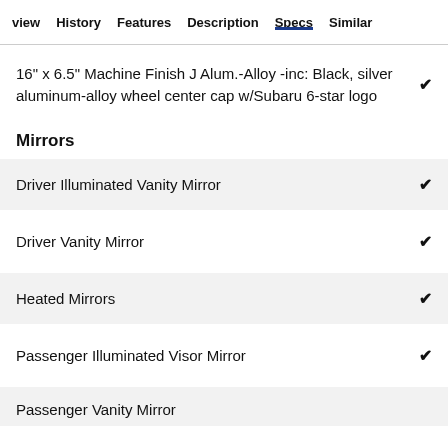view  History  Features  Description  Specs  Similar
16" x 6.5" Machine Finish J Alum.-Alloy -inc: Black, silver aluminum-alloy wheel center cap w/Subaru 6-star logo
Mirrors
Driver Illuminated Vanity Mirror
Driver Vanity Mirror
Heated Mirrors
Passenger Illuminated Visor Mirror
Passenger Vanity Mirror